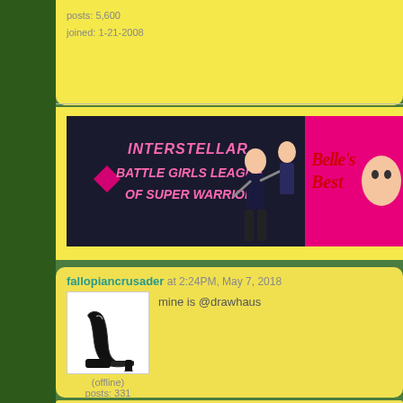posts: 5,600
joined: 1-21-2008
[Figure (illustration): Forum banner image showing 'Interstellar Battle Girls League of Super Warriors' on left half with dark background and anime-style characters, and 'Belle's Best' on right half with pink background]
fallopiancrusader at 2:24PM, May 7, 2018
[Figure (illustration): Avatar image of a black high-heel platform shoe/boot on white background]
mine is @drawhaus
(offline)
posts: 331
joined: 12-27-2013